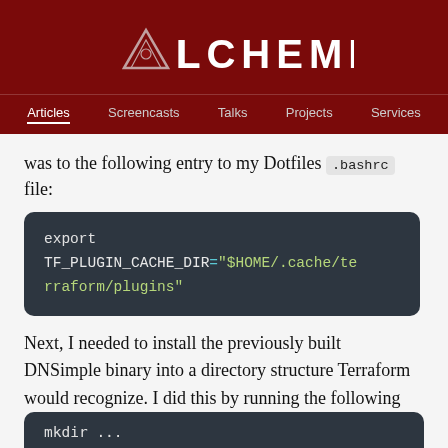ALCHEMISTS
Articles | Screencasts | Talks | Projects | Services
was to the following entry to my Dotfiles .bashrc file:
[Figure (screenshot): Code block showing: export TF_PLUGIN_CACHE_DIR="$HOME/.cache/terraform/plugins"]
Next, I needed to install the previously built DNSimple binary into a directory structure Terraform would recognize. I did this by running the following steps:
[Figure (screenshot): Partial code block visible at bottom of page]